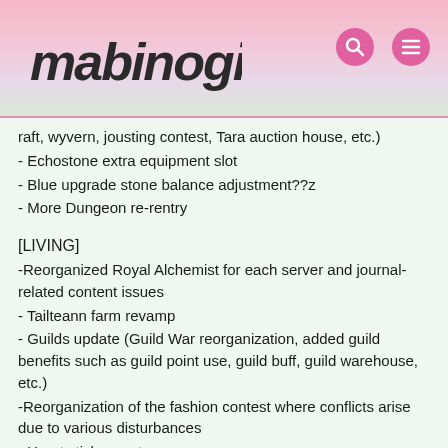mabinogi
raft, wyvern, jousting contest, Tara auction house, etc.)
- Echostone extra equipment slot
- Blue upgrade stone balance adjustment??z
- More Dungeon re-rentry
[LIVING]
-Reorganized Royal Alchemist for each server and journal-related content issues
- Tailteann farm revamp
- Guilds update (Guild War reorganization, added guild benefits such as guild point use, guild buff, guild warehouse, etc.)
-Reorganization of the fashion contest where conflicts arise due to various disturbances
- Heart sticker system revamp
- more minigames
- unlocking homestead housing rooms
- Composition based fixes, such as setting whether a